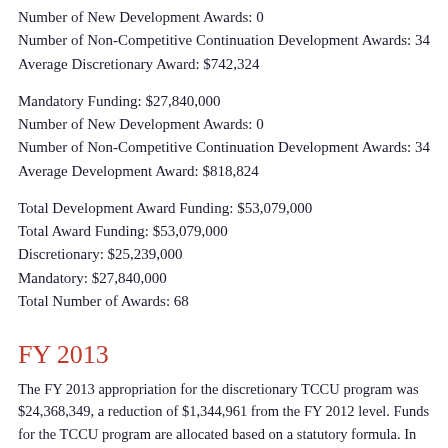Number of New Development Awards: 0
Number of Non-Competitive Continuation Development Awards: 34
Average Discretionary Award: $742,324
Mandatory Funding: $27,840,000
Number of New Development Awards: 0
Number of Non-Competitive Continuation Development Awards: 34
Average Development Award: $818,824
Total Development Award Funding: $53,079,000
Total Award Funding: $53,079,000
Discretionary: $25,239,000
Mandatory: $27,840,000
Total Number of Awards: 68
FY 2013
The FY 2013 appropriation for the discretionary TCCU program was $24,368,349, a reduction of $1,344,961 from the FY 2012 level. Funds for the TCCU program are allocated based on a statutory formula. In addition, a mandatory funding of $28,470,000, appropriated by the Student Aid and Fiscal Responsibility Act (SAFRA), is being provided in the mandatory TCCU program in FY 2013, which is a reduction of $1,530,000 from the FY 2012 level.